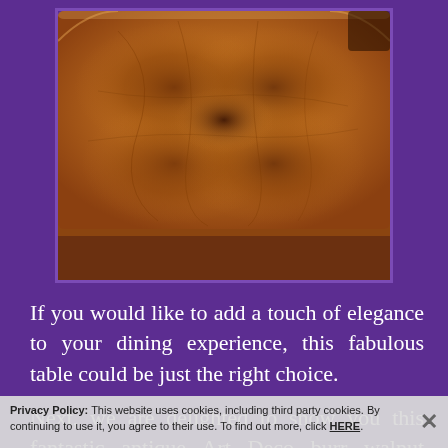[Figure (photo): Close-up photograph of an antique burr walnut tabletop with decorative book-matched veneer pattern showing swirling grain in warm amber and dark brown tones, with rounded corners visible on the piece of furniture.]
If you would like to add a touch of elegance to your dining experience, this fabulous table could be just the right choice.
Next, we are delighted to show you this fantastic antique Art Deco burr walnut cocktail cabinet, dating from circa 1920.
Privacy Policy: This website uses cookies, including third party cookies. By continuing to use it, you agree to their use. To find out more, click HERE.